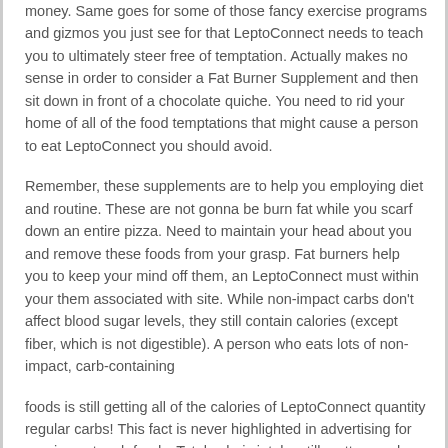money. Same goes for some of those fancy exercise programs and gizmos you just see for that LeptoConnect needs to teach you to ultimately steer free of temptation. Actually makes no sense in order to consider a Fat Burner Supplement and then sit down in front of a chocolate quiche. You need to rid your home of all of the food temptations that might cause a person to eat LeptoConnect you should avoid.
Remember, these supplements are to help you employing diet and routine. These are not gonna be burn fat while you scarf down an entire pizza. Need to maintain your head about you and remove these foods from your grasp. Fat burners help you to keep your mind off them, an LeptoConnect must within your them associated with site. While non-impact carbs don't affect blood sugar levels, they still contain calories (except fiber, which is not digestible). A person who eats lots of non-impact, carb-containing
foods is still getting all of the calories of LeptoConnect quantity regular carbs! This fact is never highlighted in advertising for non-impact carb foods. Total caloric intake still matters on low-carb diets. Or perhaps body is receiving too many calories, you will not regret need